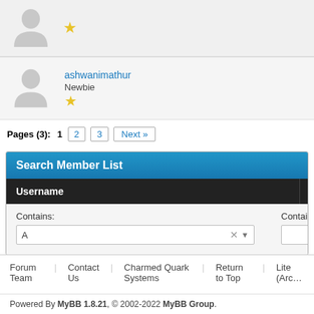[Figure (screenshot): Member list row with avatar placeholder and star rating (partial, top)]
[Figure (screenshot): Member list row: ashwanimathur, Newbie, one star rating]
Pages (3): 1  2  3  Next »
Search Member List
| Username | Website |
| --- | --- |
| Contains: A (with clear and dropdown) | Contains: |
Forum Team   Contact Us   Charmed Quark Systems   Return to Top   Lite (Arc…)
Powered By MyBB 1.8.21, © 2002-2022 MyBB Group.